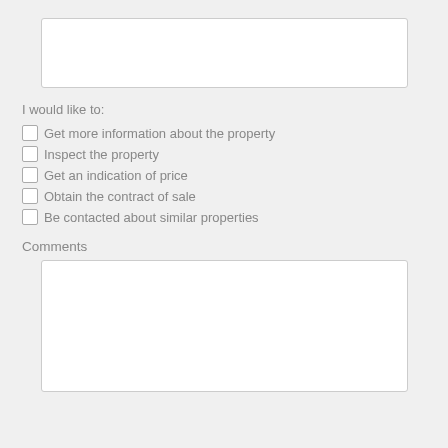[Figure (other): Empty text input box at the top of the form]
I would like to:
Get more information about the property
Inspect the property
Get an indication of price
Obtain the contract of sale
Be contacted about similar properties
Comments
[Figure (other): Empty comments text area box]